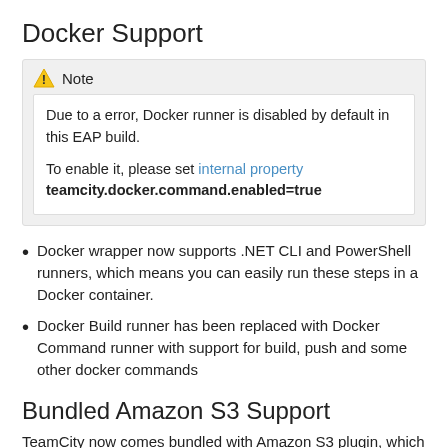Docker Support
Note
Due to a error, Docker runner is disabled by default in this EAP build.
To enable it, please set internal property teamcity.docker.command.enabled=true
Docker wrapper now supports .NET CLI and PowerShell runners, which means you can easily run these steps in a Docker container.
Docker Build runner has been replaced with Docker Command runner with support for build, push and some other docker commands
Bundled Amazon S3 Support
TeamCity now comes bundled with Amazon S3 plugin, which allows uploading to, downloading and removing artifacts from S3.